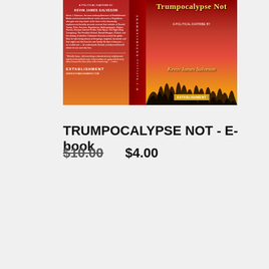[Figure (photo): Book cover of 'Trumpocalypse Not - A Political Diatribe by Kevin James Salveson', published by Extablishment. The cover features a red and orange gradient background with dark tree silhouettes. Shows both front cover and back cover/spine of the book.]
TRUMPOCALYPSE NOT - E-book
$10.00  $4.00